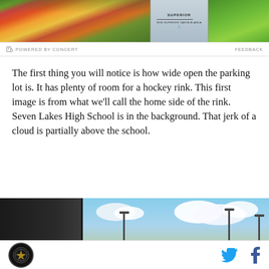[Figure (photo): Advertisement banner showing tropical fruits, a liquor bottle labeled Superior, and green tropical leaves]
POWERED BY CONCERT
FEEDBACK
The first thing you will notice is how wide open the parking lot is. It has plenty of room for a hockey rink. This first image is from what we'll call the home side of the rink. Seven Lakes High School is in the background. That jerk of a cloud is partially above the school.
[Figure (photo): Outdoor parking lot photo showing a wide open sky with clouds, light poles, and a dark vertical divider in the frame]
Footer with site logo, Twitter icon, and Facebook icon